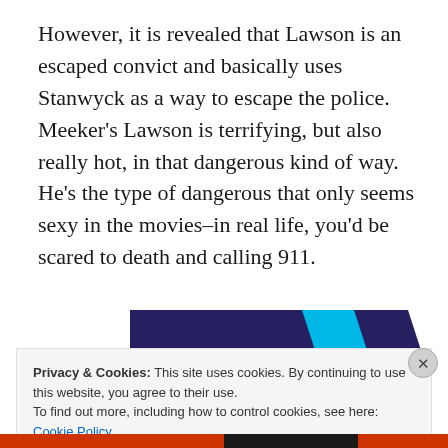However, it is revealed that Lawson is an escaped convict and basically uses Stanwyck as a way to escape the police. Meeker's Lawson is terrifying, but also really hot, in that dangerous kind of way. He's the type of dangerous that only seems sexy in the movies–in real life, you'd be scared to death and calling 911.
[Figure (other): Partial banner image showing dark navy blue background with cyan blue accent strip, partially cropped]
Privacy & Cookies: This site uses cookies. By continuing to use this website, you agree to their use.
To find out more, including how to control cookies, see here:
Cookie Policy
Close and accept